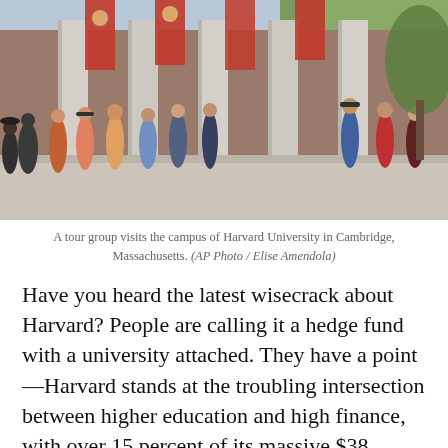[Figure (photo): A tour group of people walking in front of a large columned building at Harvard University. Red banners hang from the columns. Trees are visible in the background.]
A tour group visits the campus of Harvard University in Cambridge, Massachusetts. (AP Photo / Elise Amendola)
Have you heard the latest wisecrack about Harvard? People are calling it a hedge fund with a university attached. They have a point—Harvard stands at the troubling intersection between higher education and high finance, with over 15 percent of its massive $38 billion endowment invested in hedge funds. That